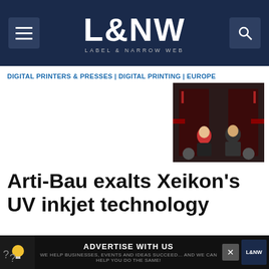L&NW Label & Narrow Web
DIGITAL PRINTERS & PRESSES | DIGITAL PRINTING | EUROPE
[Figure (photo): Two people standing in front of dark industrial printing machinery with red accents]
Arti-Bau exalts Xeikon's UV inkjet technology
The Polish label converter has had success with its new Xeikon PX3000 model.
L&NW Staff
Announcing IDERA, Xeikon and Flint Group Bring Digital
[Figure (infographic): Advertise with us banner ad at the bottom of the page]